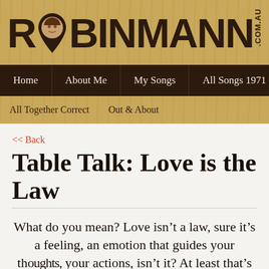[Figure (logo): ROBINMANN.COM.AU website logo on wood-grain background with guitar pick icon containing a person's photo replacing the letter O]
Home | About Me | My Songs | All Songs 1971 - 2020
All Together Correct | Out & About
<< Back
Table Talk: Love is the Law
What do you mean? Love isn't a law, sure it's a feeling, an emotion that guides your thoughts, your actions, isn't it? At least that's how we talk about it..